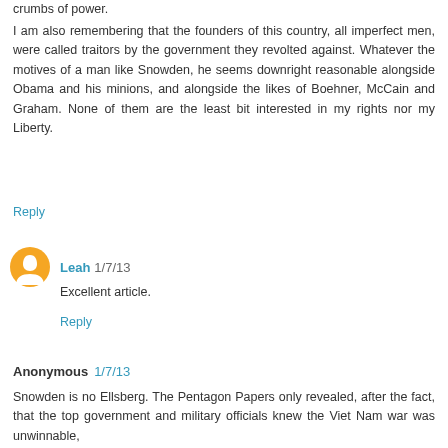crumbs of power.
I am also remembering that the founders of this country, all imperfect men, were called traitors by the government they revolted against. Whatever the motives of a man like Snowden, he seems downright reasonable alongside Obama and his minions, and alongside the likes of Boehner, McCain and Graham. None of them are the least bit interested in my rights nor my Liberty.
Reply
Leah 1/7/13
Excellent article.
Reply
Anonymous 1/7/13
Snowden is no Ellsberg. The Pentagon Papers only revealed, after the fact, that the top government and military officials knew the Viet Nam war was unwinnable,